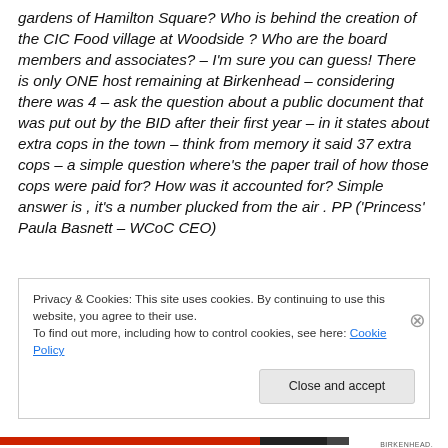gardens of Hamilton Square?  Who is behind the creation of the CIC Food village at Woodside ? Who are the board members and associates? – I'm sure you can guess! There is only ONE host remaining at Birkenhead – considering there was 4 – ask the question about a public document that was put out by the BID after their first year – in it states about extra cops in the town – think from memory it said 37 extra cops – a simple question where's the paper trail of how those cops were paid for? How was it accounted for? Simple answer is ,  it's a number plucked from the air . PP ('Princess' Paula Basnett – WCoC CEO)
Privacy & Cookies: This site uses cookies. By continuing to use this website, you agree to their use.
To find out more, including how to control cookies, see here: Cookie Policy
Close and accept